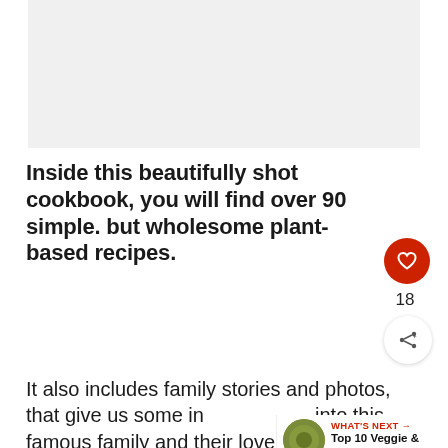[Figure (photo): Light grey placeholder image area at top of page]
Inside this beautifully shot cookbook, you will find over 90 simple. but wholesome plant-based recipes.
It also includes family stories and photos, that give us some in into this famous family and their love for linda.